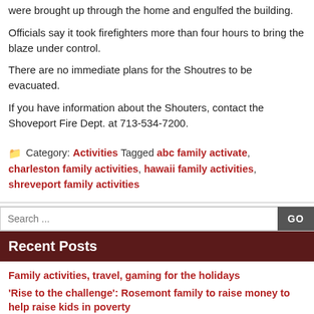were brought up through the home and engulfed the building.
Officials say it took firefighters more than four hours to bring the blaze under control.
There are no immediate plans for the Shoutres to be evacuated.
If you have information about the Shouters, contact the Shoveport Fire Dept. at 713-534-7200.
Category: Activities Tagged abc family activate, charleston family activities, hawaii family activities, shreveport family activities
Search ...
Recent Posts
Family activities, travel, gaming for the holidays
'Rise to the challenge': Rosemont family to raise money to help raise kids in poverty
Muslim families in Queensland get to celebrate their Muslim holidays
What do you need to know about the new Australian Capital Territory's family prayer activities
When you want a family vacation, here's what you need to know about Savannah family activities
Archives